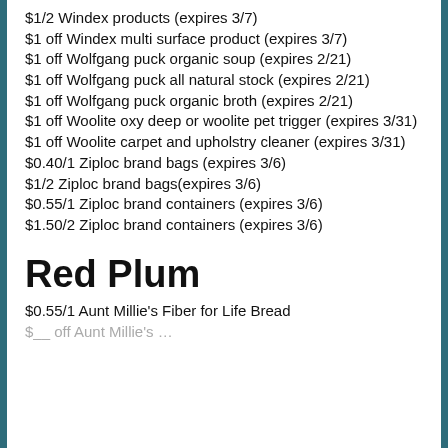$1/2 Windex products (expires 3/7)
$1 off Windex multi surface product (expires 3/7)
$1 off Wolfgang puck organic soup (expires 2/21)
$1 off Wolfgang puck all natural stock (expires 2/21)
$1 off Wolfgang puck organic broth (expires 2/21)
$1 off Woolite oxy deep or woolite pet trigger (expires 3/31)
$1 off Woolite carpet and upholstry cleaner (expires 3/31)
$0.40/1 Ziploc brand bags (expires 3/6)
$1/2 Ziploc brand bags(expires 3/6)
$0.55/1 Ziploc brand containers (expires 3/6)
$1.50/2 Ziploc brand containers (expires 3/6)
Red Plum
$0.55/1 Aunt Millie's Fiber for Life Bread
$__ off Aunt Millie's …